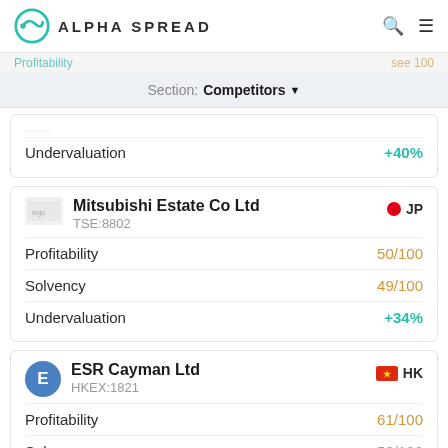ALPHA SPREAD
Profitability | Section: Competitors
Undervaluation +40%
Mitsubishi Estate Co Ltd TSE:8802 JP
Profitability 50/100
Solvency 49/100
Undervaluation +34%
ESR Cayman Ltd HKEX:1821 HK
Profitability 61/100
Solvency 52/100